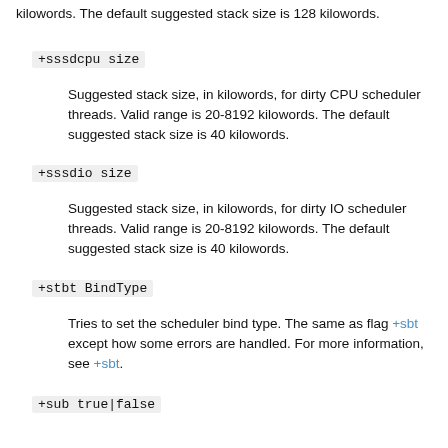kilowords. The default suggested stack size is 128 kilowords.
+sssdcpu size
Suggested stack size, in kilowords, for dirty CPU scheduler threads. Valid range is 20-8192 kilowords. The default suggested stack size is 40 kilowords.
+sssdio size
Suggested stack size, in kilowords, for dirty IO scheduler threads. Valid range is 20-8192 kilowords. The default suggested stack size is 40 kilowords.
+stbt BindType
Tries to set the scheduler bind type. The same as flag +sbt except how some errors are handled. For more information, see +sbt.
+sub true|false